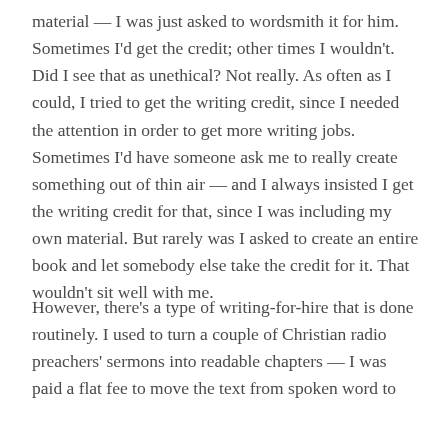material — I was just asked to wordsmith it for him. Sometimes I'd get the credit; other times I wouldn't. Did I see that as unethical? Not really. As often as I could, I tried to get the writing credit, since I needed the attention in order to get more writing jobs. Sometimes I'd have someone ask me to really create something out of thin air — and I always insisted I get the writing credit for that, since I was including my own material. But rarely was I asked to create an entire book and let somebody else take the credit for it. That wouldn't sit well with me.
However, there's a type of writing-for-hire that is done routinely. I used to turn a couple of Christian radio preachers' sermons into readable chapters — I was paid a flat fee to move the text from spoken word to